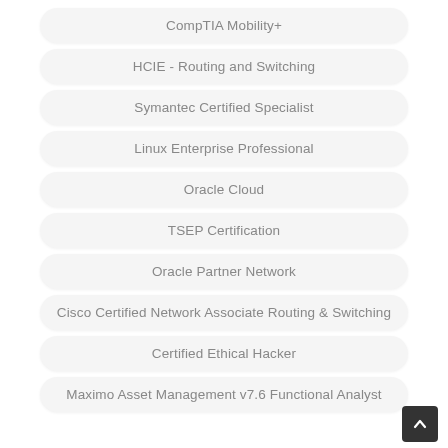CompTIA Mobility+
HCIE - Routing and Switching
Symantec Certified Specialist
Linux Enterprise Professional
Oracle Cloud
TSEP Certification
Oracle Partner Network
Cisco Certified Network Associate Routing & Switching
Certified Ethical Hacker
Maximo Asset Management v7.6 Functional Analyst